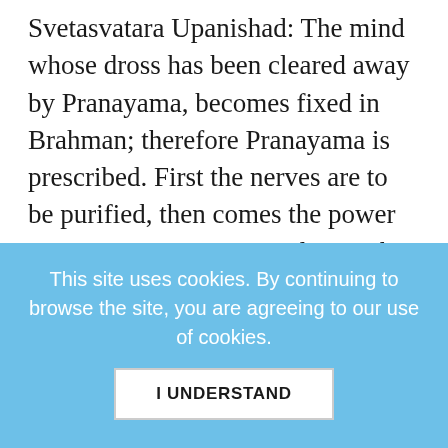Svetasvatara Upanishad: The mind whose dross has been cleared away by Pranayama, becomes fixed in Brahman; therefore Pranayama is prescribed. First the nerves are to be purified, then comes the power to practice Pranayama. Closing the right nostril with the thumb, through the let's nostril, fill in air according to capacity; then without any interval, throw the air out through the right nostril, closing the left one. Again inhaling through the right nostril, eject through the left, according to capacity; practicing this three or five
This site uses cookies. By continuing to browse the site, you are agreeing to our use of cookies.
I UNDERSTAND